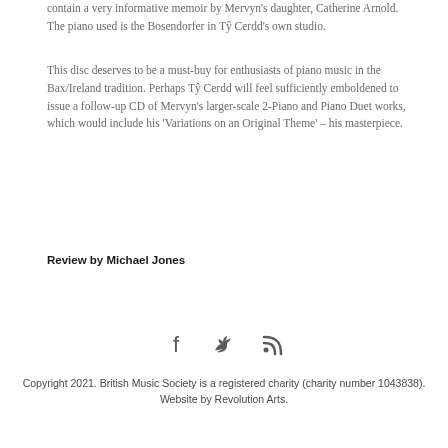contain a very informative memoir by Mervyn's daughter, Catherine Arnold. The piano used is the Bosendorfer in Tŷ Cerdd's own studio.
This disc deserves to be a must-buy for enthusiasts of piano music in the Bax/Ireland tradition. Perhaps Tŷ Cerdd will feel sufficiently emboldened to issue a follow-up CD of Mervyn's larger-scale 2-Piano and Piano Duet works, which would include his 'Variations on an Original Theme' – his masterpiece.
Review by Michael Jones
[Figure (other): Social media icons: Facebook (f), Twitter (bird), RSS feed]
Copyright 2021. British Music Society is a registered charity (charity number 1043838). Website by Revolution Arts.